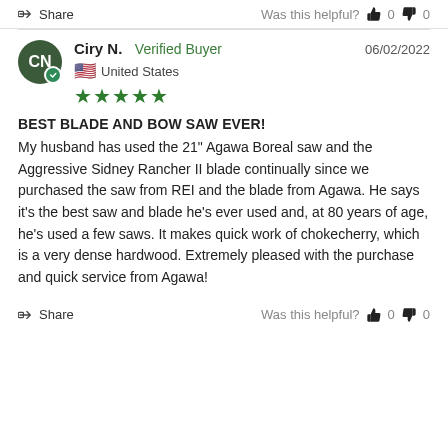Overall, very good. I will improve with a little practice.
Share   Was this helpful?  👍 0  👎 0
Ciry N.  Verified Buyer   06/02/2022
🇺🇸 United States
★★★★★
BEST BLADE AND BOW SAW EVER!
My husband has used the 21" Agawa Boreal saw and the Aggressive Sidney Rancher II blade continually since we purchased the saw from REI and the blade from Agawa. He says it's the best saw and blade he's ever used and, at 80 years of age, he's used a few saws. It makes quick work of chokecherry, which is a very dense hardwood. Extremely pleased with the purchase and quick service from Agawa!
Share   Was this helpful?  👍 0  👎 0